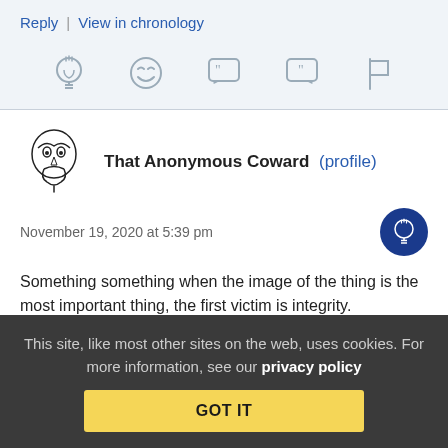Reply | View in chronology
[Figure (illustration): Row of five icon buttons: lightbulb (insight), laughing emoji, open quote speech bubble, close quote speech bubble, flag]
That Anonymous Coward (profile)
November 19, 2020 at 5:39 pm
Something something when the image of the thing is the most important thing, the first victim is integrity.
This site, like most other sites on the web, uses cookies. For more information, see our privacy policy
GOT IT